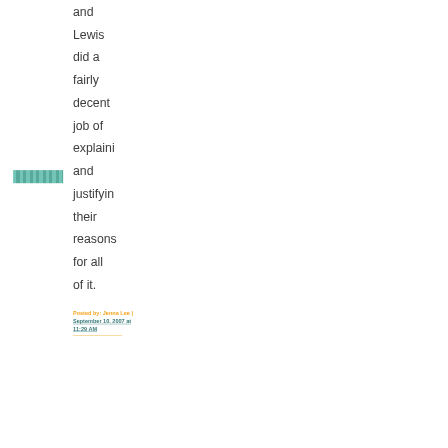and Lewis did a fairly decent job of explaini and justifyin their reasons for all of it.
Posted by: Jenna Lee | September 10, 2007 at 11:29 AM
[Figure (other): Small thumbnail image with teal/green striped pattern]